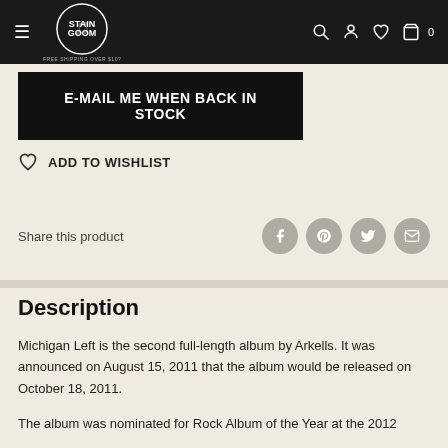FREE SHIPPING OVER $10?
E-MAIL ME WHEN BACK IN STOCK
ADD TO WISHLIST
Share this product
Description
Michigan Left is the second full-length album by Arkells. It was announced on August 15, 2011 that the album would be released on October 18, 2011.
The album was nominated for Rock Album of the Year at the 2012